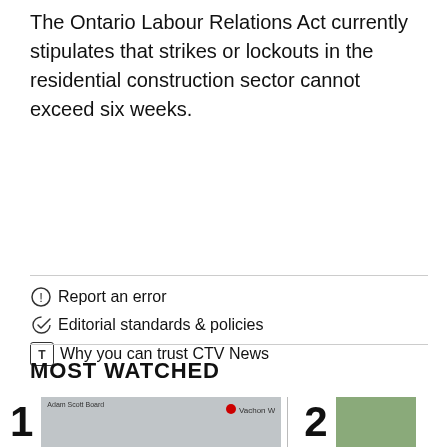The Ontario Labour Relations Act currently stipulates that strikes or lockouts in the residential construction sector cannot exceed six weeks.
Report an error
Editorial standards & policies
Why you can trust CTV News
MOST WATCHED
[Figure (photo): Thumbnail image 1 for most watched video, showing a boat or watercraft scene with Adam Smith Board text and YouTube/Vachon Watches logo overlay]
[Figure (photo): Thumbnail image 2 for most watched video, partially visible, showing a green outdoor scene]